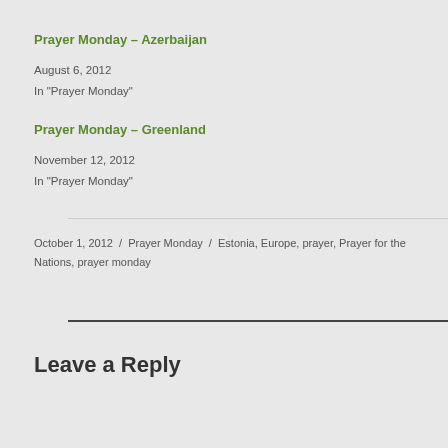Prayer Monday – Azerbaijan
August 6, 2012
In "Prayer Monday"
Prayer Monday – Greenland
November 12, 2012
In "Prayer Monday"
October 1, 2012 / Prayer Monday / Estonia, Europe, prayer, Prayer for the Nations, prayer monday
Leave a Reply